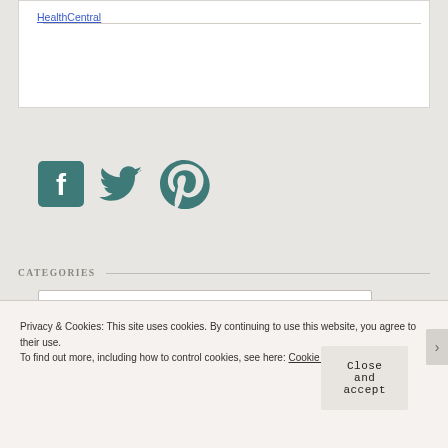HealthCentral
[Figure (illustration): Social media icons: Facebook (square teal icon), Twitter (bird teal icon), Pinterest (P teal icon)]
CATEGORIES
Select Category
Privacy & Cookies: This site uses cookies. By continuing to use this website, you agree to their use.
To find out more, including how to control cookies, see here: Cookie Policy
Close and accept